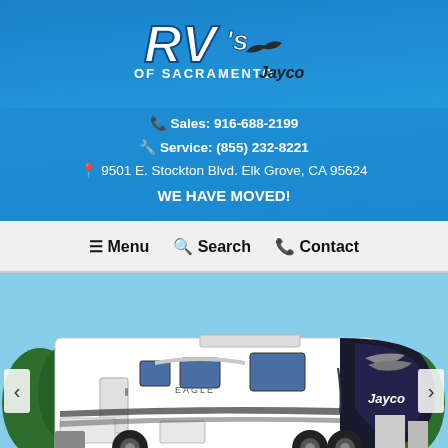[Figure (logo): RV's of Sacramento logo with Jayco branding on blue background]
📞 Sales: 916-688-2199
🔧 Service: (855) 232-8221
📍 9501 E. Stockton Blvd. Elk Grove, CA 95624
WE HAVE MOVED!
☰ Menu  🔍 Search  📞 Contact
[Figure (photo): Photo of a white Jayco Eagle fifth-wheel RV parked outdoors under blue sky with trees in background. Left and right navigation arrows visible. Red 'Text Us!' chat button in bottom right corner.]